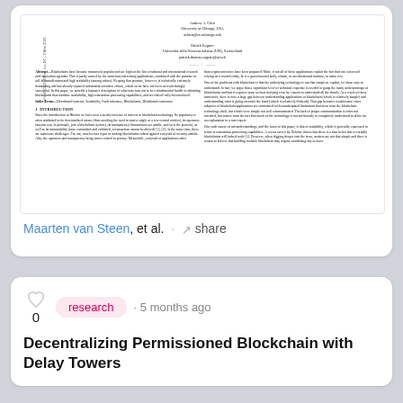[Figure (screenshot): Thumbnail of a research paper showing authors Andrew A. Chen (University of Chicago) and Patrick Eugster (Università della Svizzera italiana), with arxiv ID arXiv:2103.01487v1, abstract, index terms, and introduction text in two-column format.]
Maarten van Steen, et al. · share
research · 5 months ago
Decentralizing Permissioned Blockchain with Delay Towers